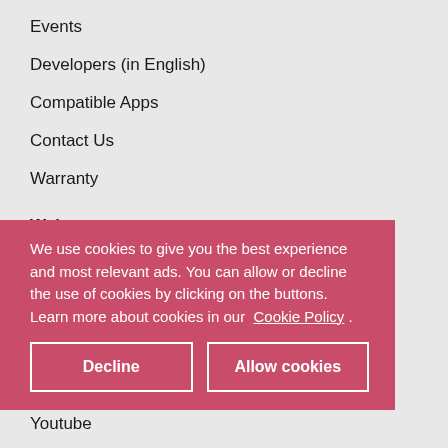Events
Developers (in English)
Compatible Apps
Contact Us
Warranty
Webstore
Return policy
FAQ
We use cookies to give you the best experience and most relevant ads. You can allow or decline the use of cookies by clicking on the buttons. Learn more about cookies in our Cookie Policy .
Follow us
Facebook
Youtube
Instagram
Twitter